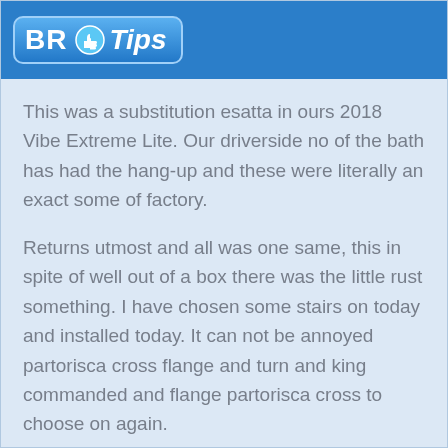BR Tips
This was a substitution esatta in ours 2018 Vibe Extreme Lite. Our driverside no of the bath has had the hang-up and these were literally an exact some of factory.
Returns utmost and all was one same, this in spite of well out of a box there was the little rust something. I have chosen some stairs on today and installed today. It can not be annoyed partorisca cross flange and turn and king commanded and flange partorisca cross to choose on again.